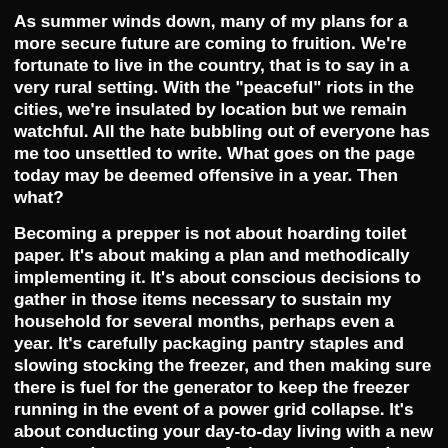As summer winds down, many of my plans for a more secure future are coming to fruition. We're fortunate to live in the country, that is to say in a very rural setting. With the "peaceful" riots in the cities, we're insulated by location but we remain watchful. All the hate bubbling out of everyone has me too unsettled to write. What goes on the page today may be deemed offensive in a year. Then what?
Becoming a prepper is not about hoarding toilet paper. It's about making a plan and methodically implementing it. It's about conscious decisions to gather in those items necessary to sustain my household for several months, perhaps even a year. It's carefully packaging pantry staples and slowing stocking the freezer, and then making sure there is fuel for the generator to keep the freezer running in the event of a power grid collapse. It's about conducting your day-to-day living with a new and growing awareness of what you need to do to weather another, longer stay-at-home order.
But this does not mean it's all doom and gloom and the